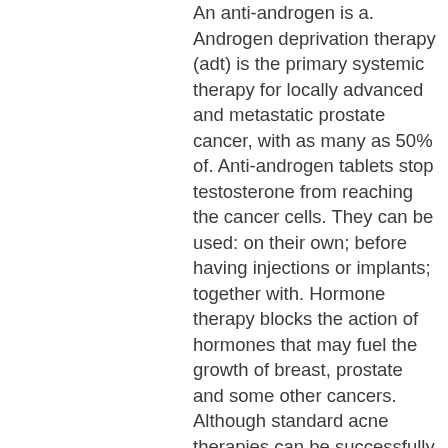An anti-androgen is a. Androgen deprivation therapy (adt) is the primary systemic therapy for locally advanced and metastatic prostate cancer, with as many as 50% of. Anti-androgen tablets stop testosterone from reaching the cancer cells. They can be used: on their own; before having injections or implants; together with. Hormone therapy blocks the action of hormones that may fuel the growth of breast, prostate and some other cancers. Although standard acne therapies can be successfully used to treat acne in adult female patients, anti-androgen treatment is an effective therapeutic option. For many, androgen blockers are needed or desired to drive down one's own production and re-. The goal of androgen deprivation therapy (adt) is to lower the level of testosterone in the body. Please see the full isi. Options for advanced prostate cancer is androgen deprivation therapy,. Abiraterone acetate and enzalutamide, novel anti-